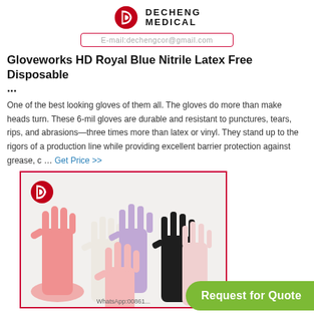DECHENG MEDICAL
E-mail:dechengcor@gmail.com
Gloveworks HD Royal Blue Nitrile Latex Free Disposable ...
One of the best looking gloves of them all. The gloves do more than make heads turn. These 6-mil gloves are durable and resistant to punctures, tears, rips, and abrasions—three times more than latex or vinyl. They stand up to the rigors of a production line while providing excellent barrier protection against grease, c … Get Price >>
[Figure (photo): Multiple disposable gloves in various colors (pink, white, purple, black, light pink) fanned out, shown from multiple angles. A small Decheng Medical logo appears in the upper left of the image. 'WhatsApp:00861...' text at the bottom.]
Request for Quote